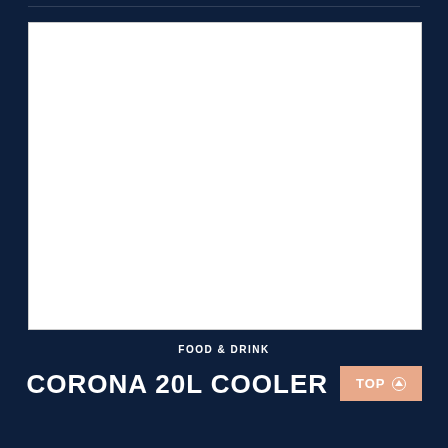[Figure (photo): White blank image placeholder box on dark navy background]
FOOD & DRINK
CORONA 20L COOLER